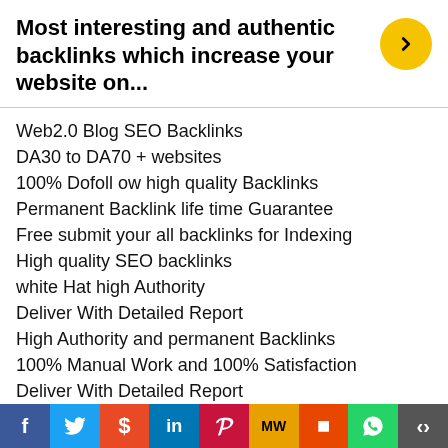Most interesting and authentic backlinks which increase your website on...
Web2.0 Blog SEO Backlinks
DA30 to DA70 + websites
100% Dofollow high quality Backlinks
Permanent Backlink life time Guarantee
Free submit your all backlinks for Indexing
High quality SEO backlinks
white Hat high Authority
Deliver With Detailed Report
High Authority and permanent Backlinks
100% Manual Work and 100% Satisfaction
Deliver With Detailed Report
Google Friendly Submission and creation of backlinks
f  Twitter  Reddit  in  Pinterest  MW  Mix  WhatsApp  Share